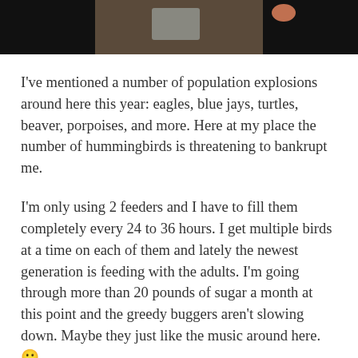[Figure (photo): Dark photo strip showing a person or figure with a reddish/pink element in the upper right, dark background on sides, brownish center.]
I've mentioned a number of population explosions around here this year: eagles, blue jays, turtles, beaver, porpoises, and more. Here at my place the number of hummingbirds is threatening to bankrupt me.
I'm only using 2 feeders and I have to fill them completely every 24 to 36 hours. I get multiple birds at a time on each of them and lately the newest generation is feeding with the adults. I'm going through more than 20 pounds of sugar a month at this point and the greedy buggers aren't slowing down. Maybe they just like the music around here. 🙂